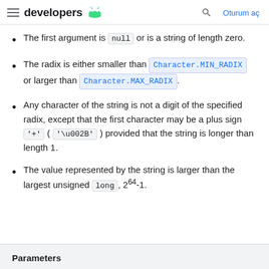developers | Oturum aç
The first argument is null or is a string of length zero.
The radix is either smaller than Character.MIN_RADIX or larger than Character.MAX_RADIX.
Any character of the string is not a digit of the specified radix, except that the first character may be a plus sign '+' ('\u002B') provided that the string is longer than length 1.
The value represented by the string is larger than the largest unsigned long, 2^64-1.
Parameters